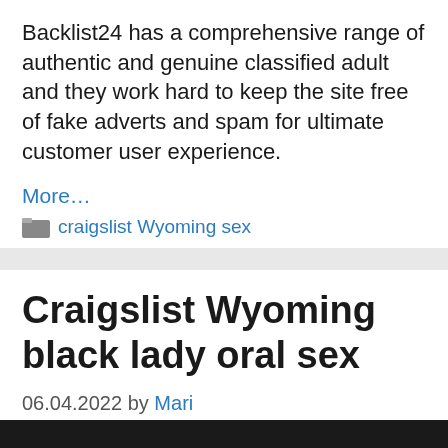Backlist24 has a comprehensive range of authentic and genuine classified adult and they work hard to keep the site free of fake adverts and spam for ultimate customer user experience.
More...
craigslist Wyoming sex
Craigslist Wyoming black lady oral sex
06.04.2022 by Mari